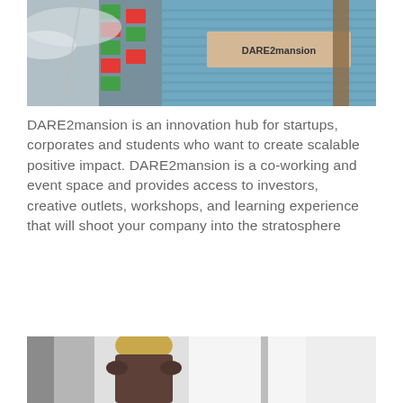[Figure (photo): Exterior photo of DARE2mansion building with colorful signs and a blue brick wall with the DARE2mansion logo sign]
DARE2mansion is an innovation hub for startups, corporates and students who want to create scalable positive impact. DARE2mansion is a co-working and event space and provides access to investors, creative outlets, workshops, and learning experience that will shoot your company into the stratosphere
Visit DARE2mansion
[Figure (photo): Photo of a person with blonde hair seen from behind in a bright interior space]